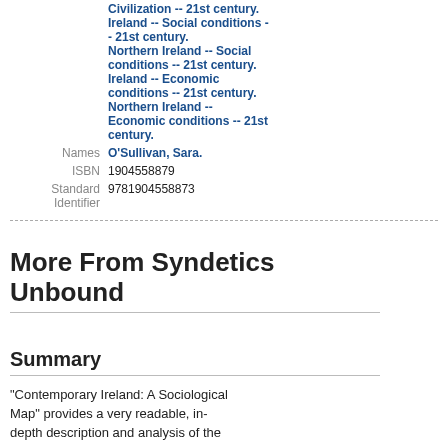Civilization -- 21st century.
Ireland -- Social conditions -- 21st century.
Northern Ireland -- Social conditions -- 21st century.
Ireland -- Economic conditions -- 21st century.
Northern Ireland -- Economic conditions -- 21st century.
| Label | Value |
| --- | --- |
| Names | O'Sullivan, Sara. |
| ISBN | 1904558879 |
| Standard Identifier | 9781904558873 |
More From Syndetics Unbound
Summary
"Contemporary Ireland: A Sociological Map" provides a very readable, in-depth description and analysis of the